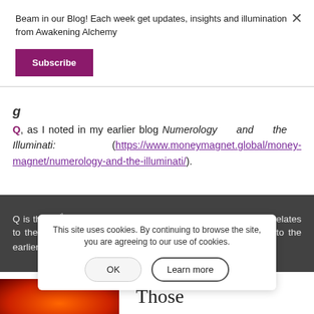Beam in our Blog! Each week get updates, insights and illumination from Awakening Alchemy
Subscribe
Q, as I noted in my earlier blog Numerology and the Illuminati: (https://www.moneymagnet.global/money-magnet/numerology-and-the-illuminati/).
Q is the 17th letter of the alphabet and in numerology that correlates to the star of the Magi — more on that — click on the link to the earlier blog.
This site uses cookies. By continuing to browse the site, you are agreeing to our use of cookies.
OK
Learn more
Those